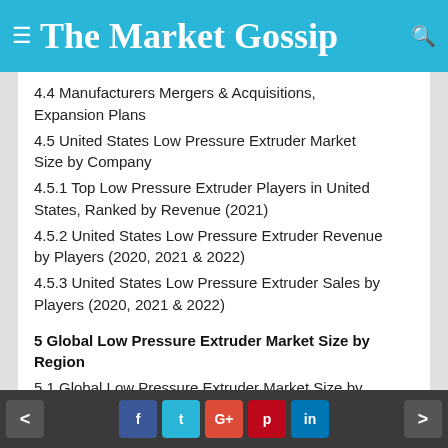The Market Gossip
4.4 Manufacturers Mergers & Acquisitions, Expansion Plans
4.5 United States Low Pressure Extruder Market Size by Company
4.5.1 Top Low Pressure Extruder Players in United States, Ranked by Revenue (2021)
4.5.2 United States Low Pressure Extruder Revenue by Players (2020, 2021 & 2022)
4.5.3 United States Low Pressure Extruder Sales by Players (2020, 2021 & 2022)
5 Global Low Pressure Extruder Market Size by Region
5.1 Global Low Pressure Extruder Market Size by Region: 2017 VS 2022 VS 2028
5.2 Global Low Pressure Extruder Market Size in
< f t G+ p in >